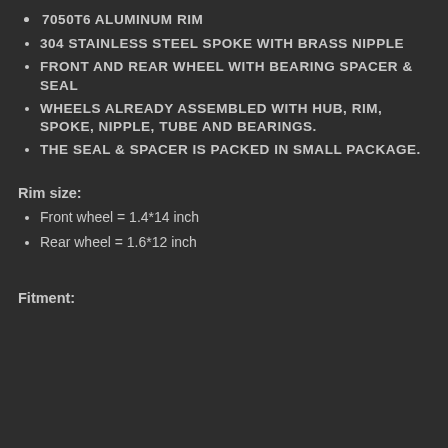7050T6 ALUMINUM RIM
304 STAINLESS STEEL SPOKE WITH BRASS NIPPLE
FRONT AND REAR WHEEL WITH BEARING SPACER & SEAL
WHEELS ALREADY ASSEMBLED WITH HUB, RIM, SPOKE, NIPPLE, TUBE AND BEARINGS.
THE SEAL & SPACER IS PACKED IN SMALL PACKAGE.
Rim size:
Front wheel = 1.4*14 inch
Rear wheel = 1.6*12 inch
Fitment: